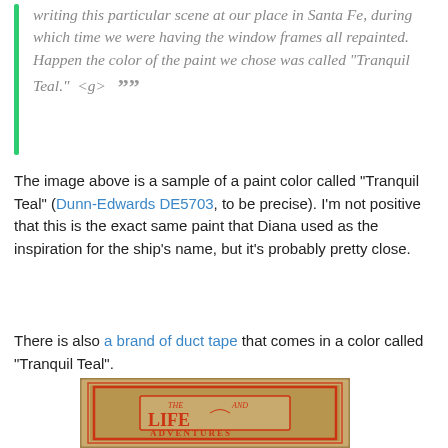writing this particular scene at our place in Santa Fe, during which time we were having the window frames all repainted.  Happen the color of the paint we chose was called "Tranquil Teal."  <g>  ””
The image above is a sample of a paint color called "Tranquil Teal" (Dunn-Edwards DE5703, to be precise). I'm not positive that this is the exact same paint that Diana used as the inspiration for the ship's name, but it's probably pretty close.
There is also a brand of duct tape that comes in a color called "Tranquil Teal".
[Figure (photo): Aged book cover showing decorative red/orange print with text reading 'THE LIFE AND ADVENTURES' in ornate vintage style on brown/tan background]